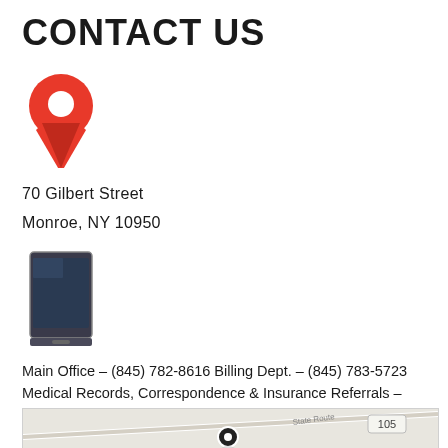CONTACT US
[Figure (illustration): Red map pin / location marker icon]
70 Gilbert Street
Monroe, NY 10950
[Figure (illustration): Tablet/phone device icon with dark screen]
Main Office – (845) 782-8616 Billing Dept. – (845) 783-5723 Medical Records, Correspondence & Insurance Referrals – (845) 782-7127
[Figure (map): Google Maps style map showing location near State Route 105 with a map marker]